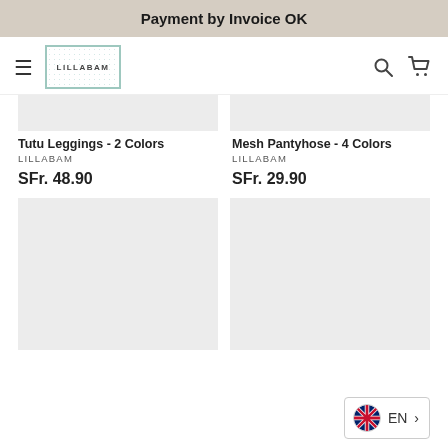Payment by Invoice OK
[Figure (logo): Lillabam logo in a decorative border with patterned background]
Tutu Leggings - 2 Colors
LILLABAM
SFr. 48.90
Mesh Pantyhose - 4 Colors
LILLABAM
SFr. 29.90
[Figure (photo): Product image placeholder (light grey)]
[Figure (photo): Product image placeholder (light grey)]